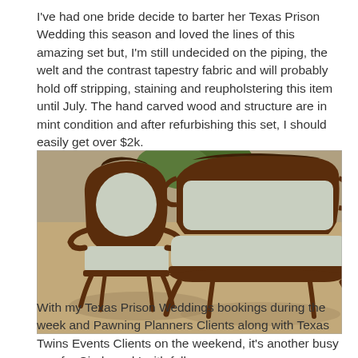I've had one bride decide to barter her Texas Prison Wedding this season and loved the lines of this amazing set but, I'm still undecided on the piping, the welt and the contrast tapestry fabric and will probably hold off stripping, staining and reupholstering this item until July. The hand carved wood and structure are in mint condition and after refurbishing this set, I should easily get over $2k.
[Figure (photo): Antique Victorian carved wood parlor set consisting of an armchair and a loveseat/settee, both upholstered in light gray-blue fabric, photographed outdoors on sandy ground in front of a tree.]
With my Texas Prison Weddings bookings during the week and Pawning Planners Clients along with Texas Twins Events Clients on the weekend, it's another busy one for Cindy and I with full